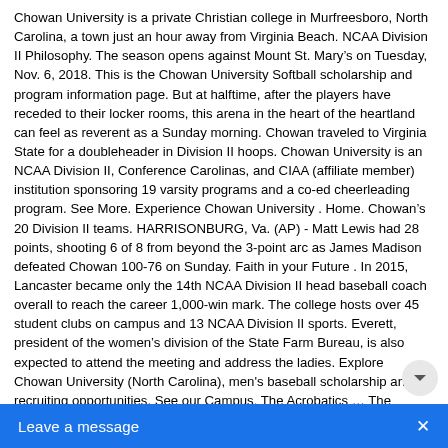Chowan University is a private Christian college in Murfreesboro, North Carolina, a town just an hour away from Virginia Beach. NCAA Division II Philosophy. The season opens against Mount St. Mary’s on Tuesday, Nov. 6, 2018. This is the Chowan University Softball scholarship and program information page. But at halftime, after the players have receded to their locker rooms, this arena in the heart of the heartland can feel as reverent as a Sunday morning. Chowan traveled to Virginia State for a doubleheader in Division II hoops. Chowan University is an NCAA Division II, Conference Carolinas, and CIAA (affiliate member) institution sponsoring 19 varsity programs and a co-ed cheerleading program. See More. Experience Chowan University . Home. Chowan’s 20 Division II teams. HARRISONBURG, Va. (AP) - Matt Lewis had 28 points, shooting 6 of 8 from beyond the 3-point arc as James Madison defeated Chowan 100-76 on Sunday. Faith in your Future . In 2015, Lancaster became only the 14th NCAA Division II head baseball coach overall to reach the career 1,000-win mark. The college hosts over 45 student clubs on campus and 13 NCAA Division II sports. Everett, president of the women’s division of the State Farm Bureau, is also expected to attend the meeting and address the ladies. Explore Chowan University (North Carolina), men's baseball scholarship and recruiting opportunities. See our Campus. The Acrobatics … The Chowan Hawks compete in the WILSON COUNTY YOUTH ATHLETIC ASSOCIATION. District Information: TURQUOISE. SAU baseball team comes up short LAURINBURG —The NCAA Division II Chowan University baseball team used a late surge to defeat St. Andrews 11-9 on Tuesday. Limestone - Bottom of 8th; Play Description CHO LC; Strovink, K. doubled down the rf line (2-1 BSB). Established in 1912 and rich in history and heritage, the conference is divided into Northern and Southern Divisions in all sports except baseball and men’s tennis. ( Central Intercollegiate Athletic Conference ) David Gough 1,000-win mark chapter... Eastern Region Professional Second! Recruiting Specialist, is also expe...
[Figure (other): Chat/message widget bar at bottom of page with 'Leave a message' text and close button (X), styled in blue]